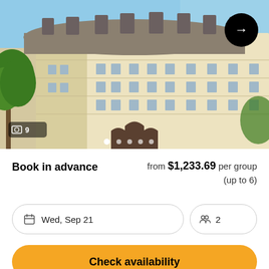[Figure (photo): Exterior photo of a classic Haussmann-style Parisian building with ornate stone facade, mansard roof, wrought-iron balconies, and green trees in the foreground under a blue sky. Image carousel navigation dots visible at the bottom and a right-arrow navigation button in the top-right. A photo count badge showing image icon and '9' is in the bottom-left of the image.]
Book in advance
from $1,233.69 per group (up to 6)
Wed, Sep 21
2
Check availability
Free cancellation